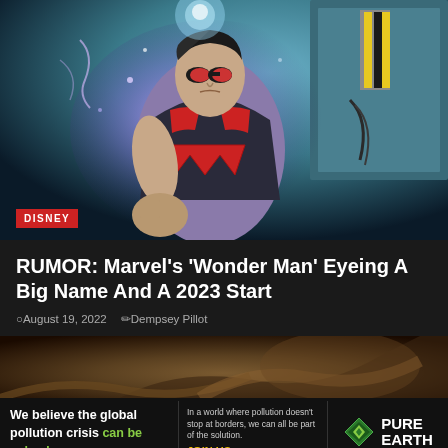[Figure (illustration): Comic book illustration of Wonder Man superhero wearing a red and dark costume with a large W on the chest, red goggles, with purple energy glow and a sci-fi background]
DISNEY
RUMOR: Marvel's 'Wonder Man' Eyeing A Big Name And A 2023 Start
August 19, 2022   Dempsey Pillot
[Figure (photo): Partial image of a creature or character, dark brownish tones, partially visible at bottom of page]
We believe the global pollution crisis can be solved.   In a world where pollution doesn't stop at borders, we can all be part of the solution. JOIN US.   PURE EARTH